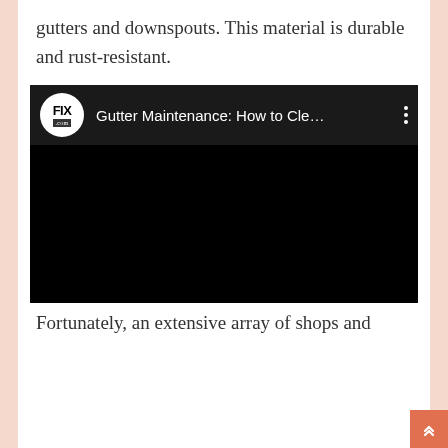gutters and downspouts. This material is durable and rust-resistant.
[Figure (screenshot): Embedded YouTube-style video player showing 'Gutter Maintenance: How to Cle...' with FIX.com logo, black video area, and three-dot menu icon.]
Fortunately, an extensive array of shops and